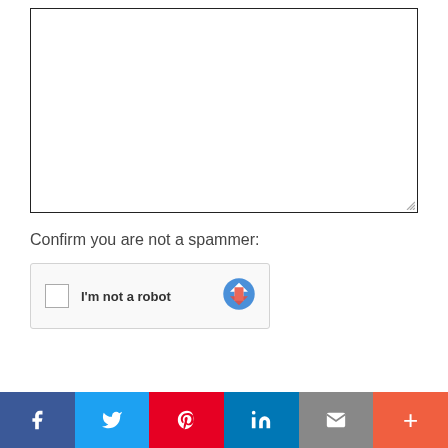[Figure (screenshot): A large empty text area box with a resize handle in the bottom-right corner]
Confirm you are not a spammer:
[Figure (screenshot): reCAPTCHA widget with checkbox, 'I'm not a robot' text, and reCAPTCHA logo]
[Figure (screenshot): Social sharing bar with Facebook, Twitter, Pinterest, LinkedIn, Email, and plus buttons]